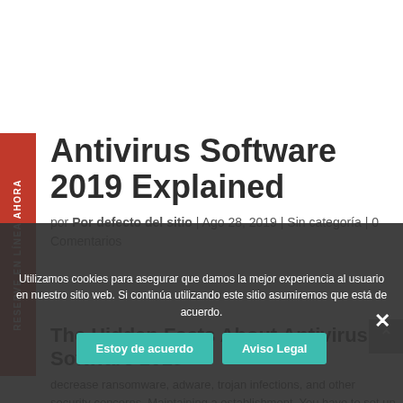Antivirus Software 2019 Explained
por Por defecto del sitio | Ago 28, 2019 | Sin categoría | 0 Comentarios
The Hidden Facts About Antivirus Software 2019
decrease ransomware, adware, trojan infections, and other security concerns. Maintaining a establishment. You have to set up any of the
Utilizamos cookies para asegurar que damos la mejor experiencia al usuario en nuestro sitio web. Si continúa utilizando este sitio asumiremos que está de acuerdo.